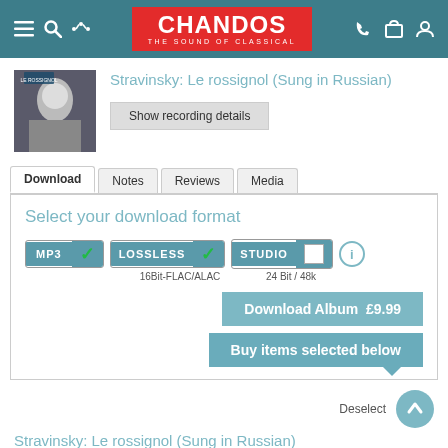CHANDOS — THE SOUND OF CLASSICAL
[Figure (photo): Album cover for Stravinsky: Le rossignol showing a man's face in close-up]
Stravinsky: Le rossignol (Sung in Russian)
Show recording details
Select your download format
MP3  LOSSLESS 16Bit-FLAC/ALAC  STUDIO 24 Bit / 48k
Download Album  £9.99
Buy items selected below
Deselect
Stravinsky: Le rossignol (Sung in Russian)